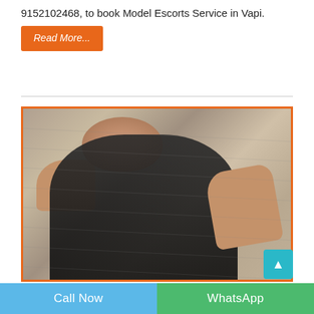9152102468, to book Model Escorts Service in Vapi.
Read More...
[Figure (photo): Young woman in black top posing against a concrete wall background, with orange border frame]
Call Now
WhatsApp